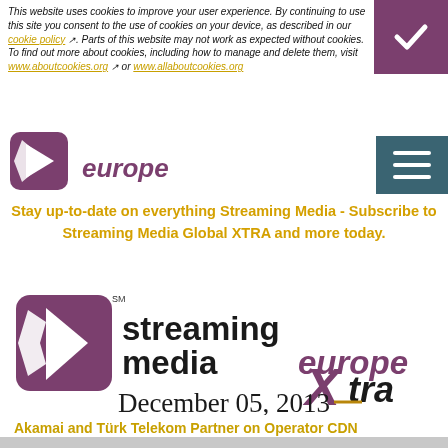This website uses cookies to improve your user experience. By continuing to use this site you consent to the use of cookies on your device, as described in our cookie policy. Parts of this website may not work as expected without cookies. To find out more about cookies, including how to manage and delete them, visit www.aboutcookies.org or www.allaboutcookies.org
[Figure (logo): Streaming Media Europe logo — purple square icon with arrow, italic 'europe' text in purple]
Stay up-to-date on everything Streaming Media - Subscribe to Streaming Media Global XTRA and more today.
[Figure (logo): Streaming Media Europe Xtra logo — purple square with white arrow icon, 'streaming media europeXtra' in black and purple text]
December 05, 2013
Akamai and Türk Telekom Partner on Operator CDN